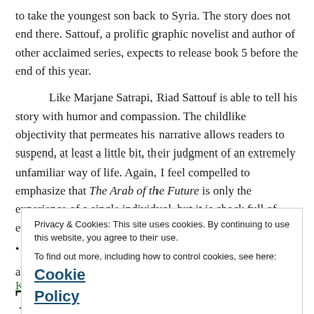to take the youngest son back to Syria. The story does not end there. Sattouf, a prolific graphic novelist and author of other acclaimed series, expects to release book 5 before the end of this year.
Like Marjane Satrapi, Riad Sattouf is able to tell his story with humor and compassion. The childlike objectivity that permeates his narrative allows readers to suspend, at least a little bit, their judgment of an extremely unfamiliar way of life. Again, I feel compelled to emphasize that The Arab of the Future is only the experience of a single individual, but it is chock full of eye-opening passages. however incomplete.
Privacy & Cookies: This site uses cookies. By continuing to use this website, you agree to their use. To find out more, including how to control cookies, see here: Cookie Policy
Close and accept
Thank you for sharing!